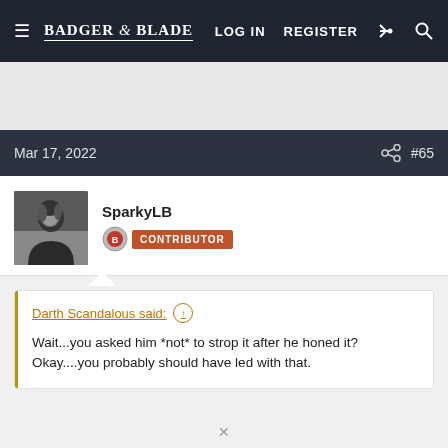Badger & Blade — LOG IN  REGISTER
Mar 17, 2022  #65
SparkyLB  CONTRIBUTOR
Darth Scandalous said: ↑

Wait...you asked him *not* to strop it after he honed it? Okay....you probably should have led with that.